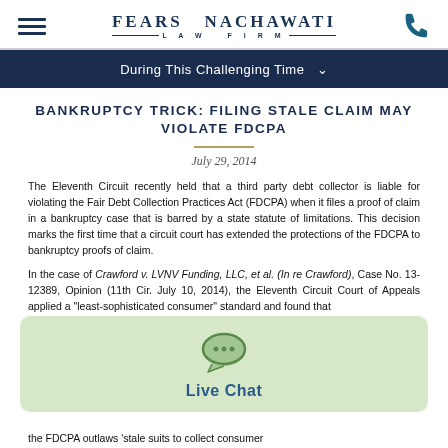FEARS NACHAWATI LAW FIRM
During This Challenging Time
BANKRUPTCY TRICK: FILING STALE CLAIM MAY VIOLATE FDCPA
July 29, 2014
The Eleventh Circuit recently held that a third party debt collector is liable for violating the Fair Debt Collection Practices Act (FDCPA) when it files a proof of claim in a bankruptcy case that is barred by a state statute of limitations. This decision marks the first time that a circuit court has extended the protections of the FDCPA to bankruptcy proofs of claim.
In the case of Crawford v. LVNV Funding, LLC, et al. (In re Crawford), Case No. 13-12389, Opinion (11th Cir. July 10, 2014), the Eleventh Circuit Court of Appeals applied a "least-sophisticated consumer" standard and found that
the FDCPA outlaws 'stale suits to collect consumer